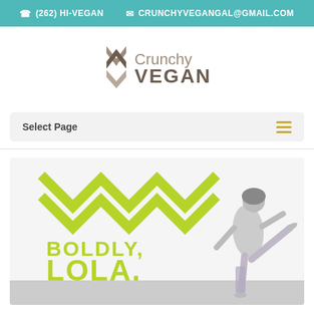(262) HI-VEGAN   CRUNCHYVEGANGAL@GMAIL.COM
[Figure (logo): Crunchy Vegan logo with geometric arrow/chevron symbol and text 'Crunchy VEGAN']
Select Page
[Figure (illustration): Hero banner with green zigzag chevron pattern, text 'BOLDLY, LOLA.' in green, and a grayscale photo of a woman doing a yoga pose (standing split/leg raise)]